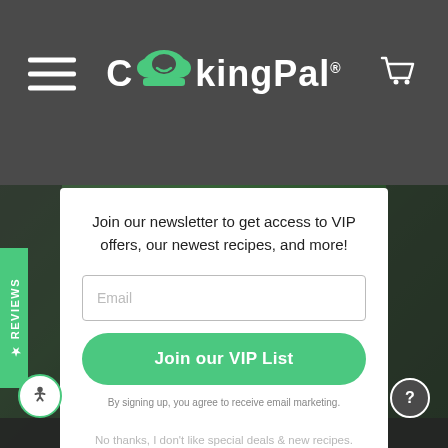CookingPal® (navigation header with hamburger menu and cart icon)
Join our newsletter to get access to VIP offers, our newest recipes, and more!
Email
Join our VIP List
By signing up, you agree to receive email marketing.
No thanks, I don't like special deals & new recipes.